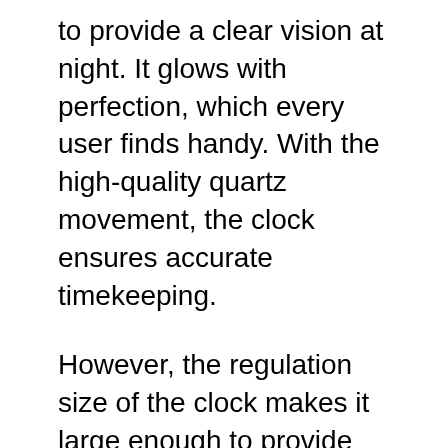to provide a clear vision at night. It glows with perfection, which every user finds handy. With the high-quality quartz movement, the clock ensures accurate timekeeping.
However, the regulation size of the clock makes it large enough to provide precise time reading. The illuminating light makes it a useful clock for night vision for those who have weaker eyesight.
More details on the clock
The clock has a different dial compared to the other listed wall clock. The wooden dial has illuminating numerals and handles. There is